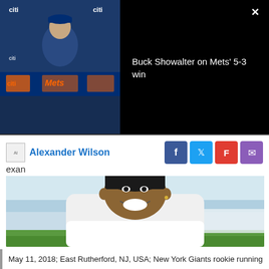[Figure (screenshot): Video embed showing Buck Showalter at Mets press conference, with title 'Buck Showalter on Mets' 5-3 win' on black background, and close button X]
Alexander Wilson
exan
[Figure (photo): New York Giants rookie running back smiling in white NY Giants shirt, outdoors at training facility, May 11 2018]
May 11, 2018; East Rutherford, NJ, USA; New York Giants rookie running